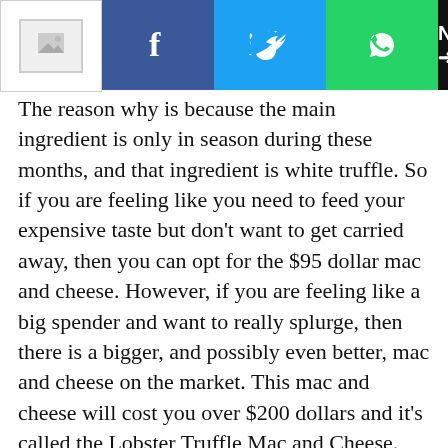[Toolbar: logo, Facebook, Twitter, WhatsApp, NEXT →]
The reason why is because the main ingredient is only in season during these months, and that ingredient is white truffle. So if you are feeling like you need to feed your expensive taste but don't want to get carried away, then you can opt for the $95 dollar mac and cheese. However, if you are feeling like a big spender and want to really splurge, then there is a bigger, and possibly even better, mac and cheese on the market. This mac and cheese will cost you over $200 dollars and it's called the Lobster Truffle Mac and Cheese. Why this is so expensive and why the price varies with the seasons is all in the name. It's always over $200 but it does depend on the price of the lobster at the time. Found at Barton G locations in Chicago, Miami, and Los Angeles, there is a catch with this dish, and that